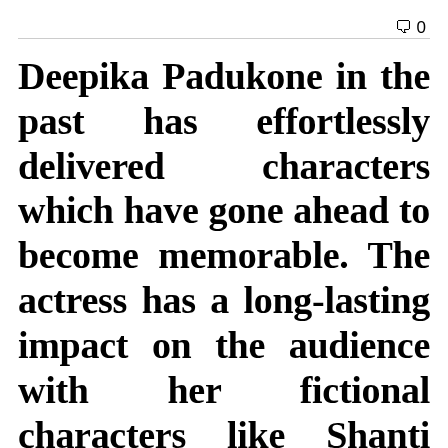🗨 0
Deepika Padukone in the past has effortlessly delivered characters which have gone ahead to become memorable. The actress has a long-lasting impact on the audience with her fictional characters like Shanti Priya from Om